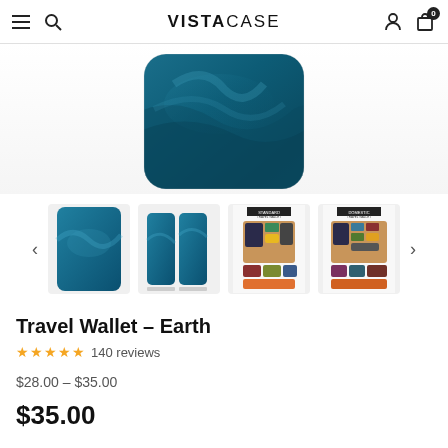VISTACASE
[Figure (photo): Main product photo showing a dark teal/ocean-themed travel wallet case with rounded rectangle shape on a white/light background]
[Figure (photo): Thumbnail carousel showing 4 product images: 1) Ocean/earth pattern travel wallet front, 2) Two wallet variants side by side, 3) Standard travel wallet contents flat lay with passport, cards, accessories on tan background, 4) Domestic travel wallet contents flat lay]
Travel Wallet – Earth
140 reviews
$28.00 – $35.00
$35.00